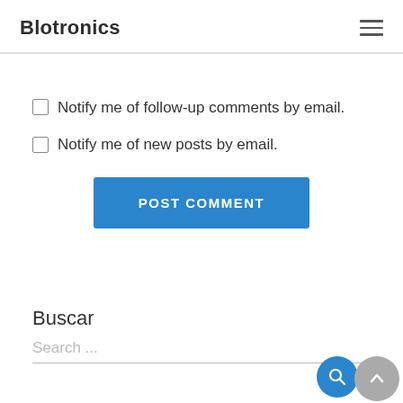Blotronics
Notify me of follow-up comments by email.
Notify me of new posts by email.
POST COMMENT
Buscar
Search ...